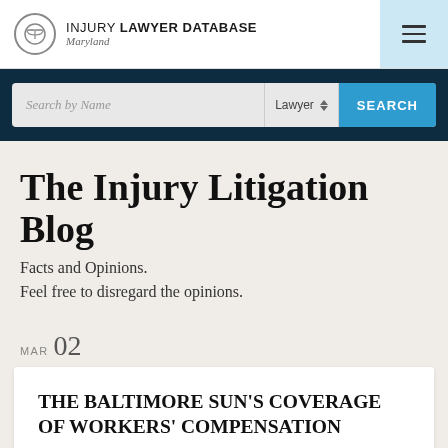INJURY LAWYER DATABASE Maryland
Search by Name | Lawyer | SEARCH
The Injury Litigation Blog
Facts and Opinions.
Feel free to disregard the opinions.
MAR 02
THE BALTIMORE SUN’S COVERAGE OF WORKERS’ COMPENSATION
By Byron Warnken